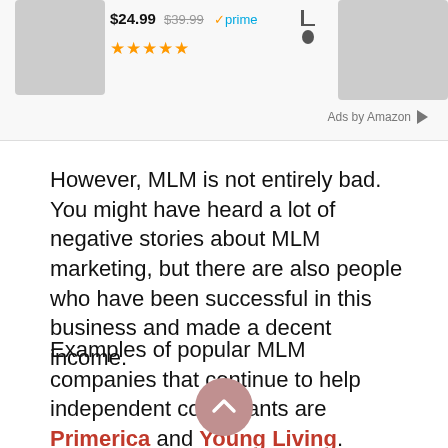[Figure (screenshot): Amazon product ad banner showing a product priced at $24.99 (original $39.99) with Prime badge and gold star rating, and product images on left and right sides. 'Ads by Amazon' label at bottom right.]
However, MLM is not entirely bad. You might have heard a lot of negative stories about MLM marketing, but there are also people who have been successful in this business and made a decent income.
Examples of popular MLM companies that continue to help independent consultants are Primerica and Young Living.
[Figure (other): Back to top button — a pink/mauve circle with a white upward chevron arrow]